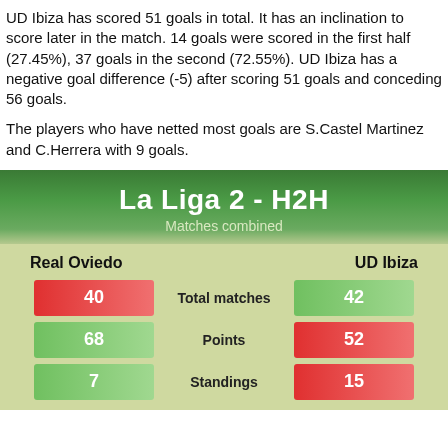UD Ibiza has scored 51 goals in total. It has an inclination to score later in the match. 14 goals were scored in the first half (27.45%), 37 goals in the second (72.55%). UD Ibiza has a negative goal difference (-5) after scoring 51 goals and conceding 56 goals.
The players who have netted most goals are S.Castel Martinez and C.Herrera with 9 goals.
La Liga 2 - H2H
Matches combined
| Real Oviedo |  | UD Ibiza |
| --- | --- | --- |
| 40 | Total matches | 42 |
| 68 | Points | 52 |
| 7 | Standings | 15 |